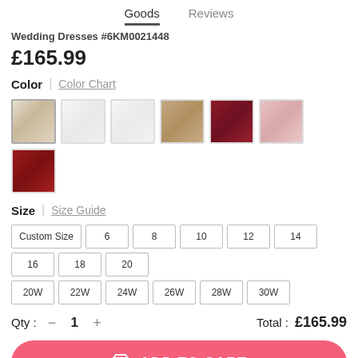Goods   Reviews
Wedding Dresses #6KM0021448
£165.99
Color | Color Chart
[Figure (photo): Seven color swatches for fabric selection: ivory/champagne draped, white, off-white, taupe/nude, deep burgundy/maroon, blush pink, dark red.]
Size | Size Guide
Size options: Custom Size, 6, 8, 10, 12, 14, 16, 18, 20, 20W, 22W, 24W, 26W, 28W, 30W
Qty : − 1 +    Total : £165.99
ADD TO CART